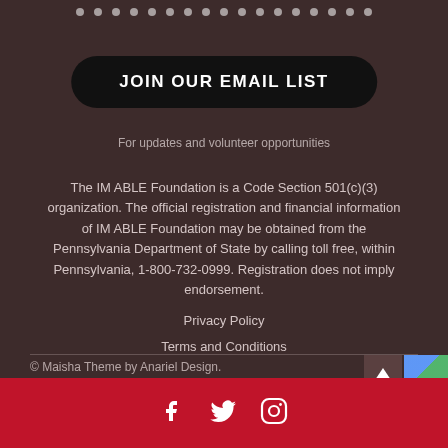[Figure (other): Row of small white dots used as a decorative divider at the top of the page]
JOIN OUR EMAIL LIST
For updates and volunteer opportunities
The IM ABLE Foundation is a Code Section 501(c)(3) organization. The official registration and financial information of IM ABLE Foundation may be obtained from the Pennsylvania Department of State by calling toll free, within Pennsylvania, 1-800-732-0999. Registration does not imply endorsement.
Privacy Policy
Terms and Conditions
© Maisha Theme by Anariel Design.
[Figure (other): Social media icons: Facebook, Twitter, Instagram in white on red background]